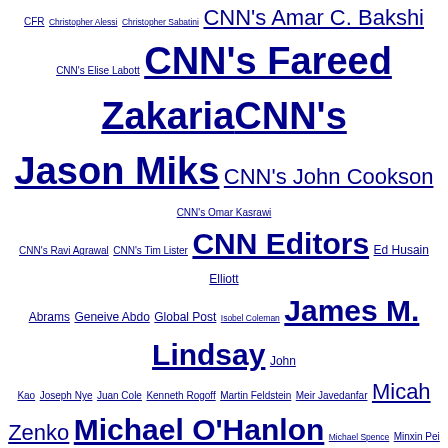CFR Christopher Alessi Christopher Sabatini CNN's Amar C. Bakshi CNN's Elise Labott CNN's Fareed Zakaria CNN's Jason Miks CNN's John Cookson CNN's Omar Kasrawi CNN's Ravi Agrawal CNN's Tim Lister CNN Editors Ed Husain Elliott Abrams Geneive Abdo Global Post Isobel Coleman James M. Lindsay John Kao Joseph Nye Juan Cole Kenneth Rogoff Martin Feldstein Meir Javedanfar Micah Zenko Michael O'Hanlon Michael Spence Minxin Pei Mohamed El-Erian Peter Singer Richard Haass Robert Danin Sami Moubayed Shashank Joshi Soner Cagaptay Stephen S. Roach Steven A. Cook Stewart M. Patrick Stewart Patrick TIME's Tony Karon
Categories
Select Category
@fareedzakaria on Twitter
This Sat., Aug. 20, tune into @CNN for the cable premiere of my series "Extraordinary," in which I sit down w/ extr�twitter.com/i/web/status/1…Y7
fareedzakaria  2:20 pm ET August 14, 2022 RETWEET